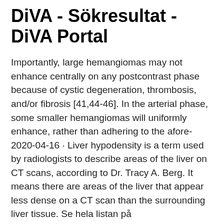DiVA - Sökresultat - DiVA Portal
Importantly, large hemangiomas may not enhance centrally on any postcontrast phase because of cystic degeneration, thrombosis, and/or fibrosis [41,44-46]. In the arterial phase, some smaller hemangiomas will uniformly enhance, rather than adhering to the afore- 2020-04-16 · Liver hypodensity is a term used by radiologists to describe areas of the liver on CT scans, according to Dr. Tracy A. Berg. It means there are areas of the liver that appear less dense on a CT scan than the surrounding liver tissue. Se hela listan på healthcheckup.com 2017-08-22 · regenerative nodules are isodense to rest of liver; siderotic nodules are hyperdense due to accumulation of iron